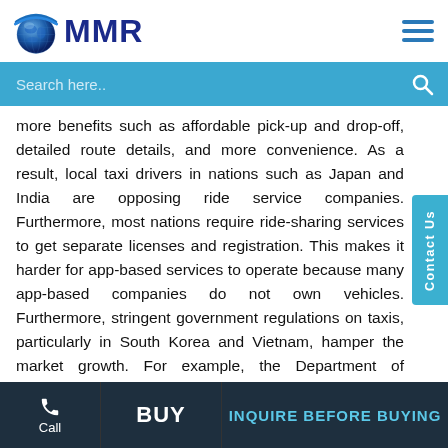[Figure (logo): MMR globe and text logo with hamburger menu icon and search bar]
more benefits such as affordable pick-up and drop-off, detailed route details, and more convenience. As a result, local taxi drivers in nations such as Japan and India are opposing ride service companies. Furthermore, most nations require ride-sharing services to get separate licenses and registration. This makes it harder for app-based services to operate because many app-based companies do not own vehicles. Furthermore, stringent government regulations on taxis, particularly in South Korea and Vietnam, hamper the market growth. For example, the Department of Transportation (DoT) in Vietnam decided in 2018 to completely stop licensing operators under a pilot program because app-based taxi services have been putting pressure on local traffic
Call | BUY | INQUIRE BEFORE BUYING